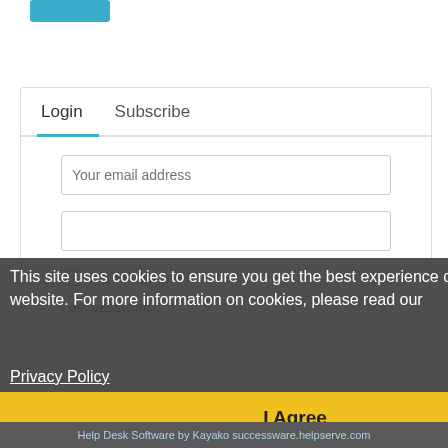[Figure (screenshot): Teal/blue button stub visible at top left of page]
Login    Subscribe
[Figure (screenshot): Email address input field with placeholder 'Your email address']
[Figure (screenshot): Password input field (empty)]
Remember me
Lost password
This site uses cookies to ensure you get the best experience on our website. For more information on cookies, please read our
Privacy Policy
I Agree
Help Desk Software by Kayako successware.helpserve.com